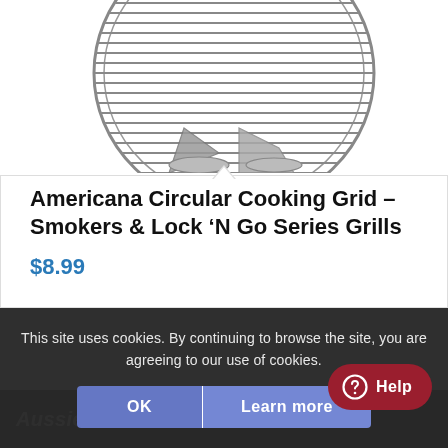[Figure (photo): Circular cooking grid / grate for smokers and grills, shown on white background. Round metal grid with radiating bars and a support ring underneath.]
Americana Circular Cooking Grid – Smokers & Lock 'N Go Series Grills
$8.99
This site uses cookies. By continuing to browse the site, you are agreeing to our use of cookies.
OK
Learn more
Help